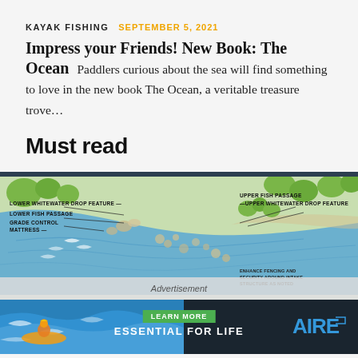KAYAK FISHING   SEPTEMBER 5, 2021
Impress your Friends! New Book: The Ocean
Paddlers curious about the sea will find something to love in the new book The Ocean, a veritable treasure trove...
Must read
[Figure (map): Illustrated aerial map of a river showing labeled features: Lower Whitewater Drop Feature, Lower Fish Passage, Grade Control Mattress, Upper Fish Passage, Upper Whitewater Drop Feature, and Enhance Fencing and Security Around Intake Structure As Noted. An Advertisement overlay is present at the bottom.]
[Figure (infographic): Banner advertisement for AIRE showing a kayaker in whitewater rapids with the text LEARN MORE button and tagline ESSENTIAL FOR LIFE with AIRE logo.]